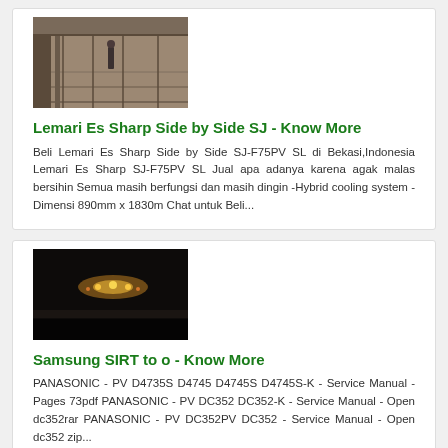[Figure (photo): Industrial warehouse interior with steel beams and flooring, top-cropped image]
Lemari Es Sharp Side by Side SJ - Know More
Beli Lemari Es Sharp Side by Side SJ-F75PV SL di Bekasi,Indonesia Lemari Es Sharp SJ-F75PV SL Jual apa adanya karena agak malas bersihin Semua masih berfungsi dan masih dingin -Hybrid cooling system -Dimensi 890mm x 1830m Chat untuk Beli...
[Figure (photo): Dark nighttime outdoor photo with distant lights visible]
Samsung SIRT to o - Know More
PANASONIC - PV D4735S D4745 D4745S D4745S-K - Service Manual - Pages 73pdf PANASONIC - PV DC352 DC352-K - Service Manual - Open dc352rar PANASONIC - PV DC352PV DC352 - Service Manual - Open dc352 zip...